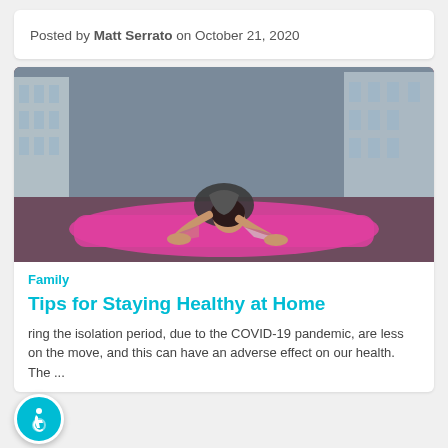Posted by Matt Serrato on October 21, 2020
[Figure (photo): A woman doing a seated forward bend yoga pose on a pink yoga mat outdoors on a rooftop or terrace, with a building in the background.]
Family
Tips for Staying Healthy at Home
During the isolation period, due to the COVID-19 pandemic, are less on the move, and this can have an adverse effect on our health. The ...